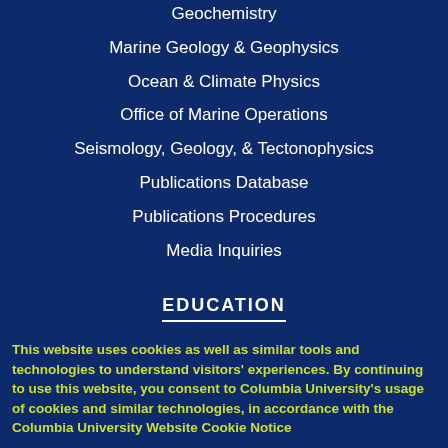Geochemistry
Marine Geology & Geophysics
Ocean & Climate Physics
Office of Marine Operations
Seismology, Geology, & Tectonophysics
Publications Database
Publications Procedures
Media Inquiries
EDUCATION
Hudson River Field Station
Public Events
K-12 Students
Educators
Undergraduate & Graduate Students
Academic Calendar
LDEO Alumni
Diversity at Lamont
Lamont Code of Conduct
This website uses cookies as well as similar tools and technologies to understand visitors' experiences. By continuing to use this website, you consent to Columbia University's usage of cookies and similar technologies, in accordance with the Columbia University Website Cookie Notice